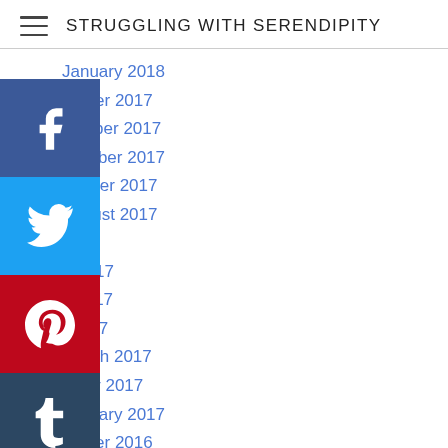STRUGGLING WITH SERENDIPITY
January 2018
ember 2017
vember 2017
October 2017
tember 2017
August 2017
2017
e 2017
y 2017
l 2017
March 2017
ruary 2017
January 2017
ember 2016
vember 2016
October 2016
September 2016